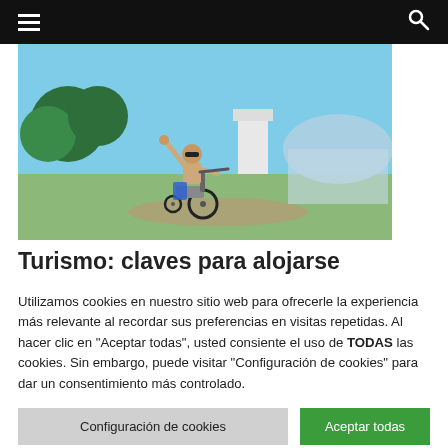Navigation menu and search bar
[Figure (photo): Person in a wheelchair with one arm raised joyfully, outdoors near a modern glass building with green lawn and trees under a blue sky.]
Turismo: claves para alojarse
Utilizamos cookies en nuestro sitio web para ofrecerle la experiencia más relevante al recordar sus preferencias en visitas repetidas. Al hacer clic en "Aceptar todas", usted consiente el uso de TODAS las cookies. Sin embargo, puede visitar "Configuración de cookies" para dar un consentimiento más controlado.
Configuración de cookies
Aceptar todas
Cambiar Idioma »